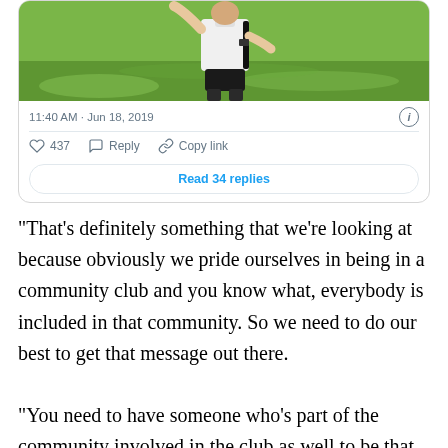[Figure (screenshot): Tweet card with photo of a person in a white shirt on green grass, timestamp 11:40 AM · Jun 18, 2019, with 437 likes, Reply, Copy link actions, and a Read 34 replies button]
“That’s definitely something that we’re looking at because obviously we pride ourselves in being in a community club and you know what, everybody is included in that community. So we need to do our best to get that message out there.
“You need to have someone who’s part of the community involved in the club as well to be that main